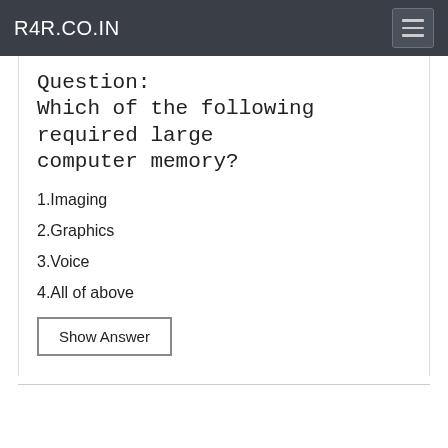R4R.CO.IN
Question:
Which of the following required large computer memory?
1.Imaging
2.Graphics
3.Voice
4.All of above
Show Answer